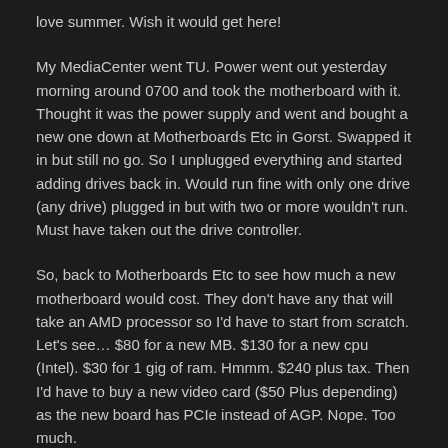love summer. Wish it would get here!
My MediaCenter went TU. Power went out yesterday morning around 0700 and took the motherboard with it. Thought it was the power supply and went and bought a new one down at Motherboards Etc in Gorst. Swapped it in but still no go. So I unplugged everything and started adding drives back in. Would run fine with only one drive (any drive) plugged in but with two or more wouldn't run. Must have taken out the drive controller.
So, back to Motherboards Etc to see how much a new motherboard would cost. They don't have any that will take an AMD processor so I'd have to start from scratch. Let's see… $80 for a new MB. $130 for a new cpu (Intel). $30 for 1 gig of ram. Hmmm. $240 plus tax. Then I'd have to buy a new video card ($50 Plus depending) as the new board has PCIe instead of AGP. Nope. Too much.
So I came on home and talked to SWMBO about it. Got online looking for motherboard/cpu combo's. Still expensive! And would still have to buy a new video card. So I found, and bought, two (2) D-Link DNS-321 NAS Enclosures (2 bay) for $260 with $30/ea